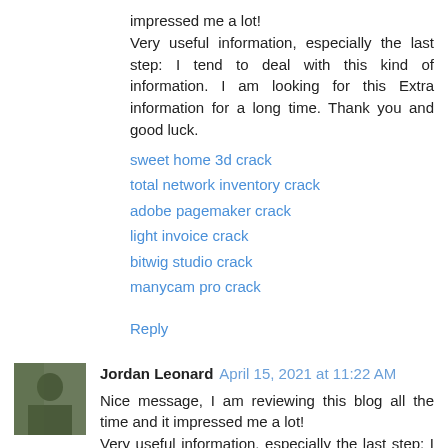impressed me a lot!
Very useful information, especially the last step: I tend to deal with this kind of information. I am looking for this Extra information for a long time. Thank you and good luck.
sweet home 3d crack
total network inventory crack
adobe pagemaker crack
light invoice crack
bitwig studio crack
manycam pro crack
Reply
Jordan Leonard  April 15, 2021 at 11:22 AM
Nice message, I am reviewing this blog all the time and it impressed me a lot!
Very useful information, especially the last step: I tend to deal with this kind of information. I am looking for this Extra information for a long time. Thank you and good luck.
burnaware professional crack
tweakbit fixmypc crack
eset nod32 antivirus crack